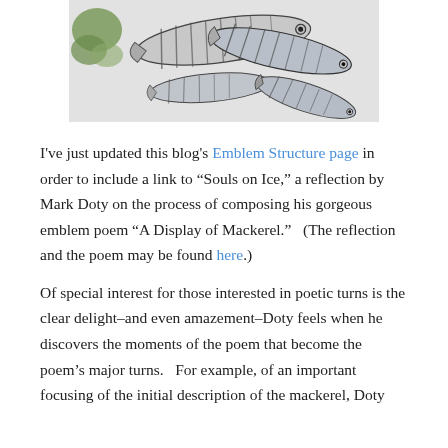[Figure (illustration): Pen-and-ink style illustration of several mackerel fish laid on ice, with detailed striped markings. Some green herbs or leaves visible on the left side.]
I've just updated this blog's Emblem Structure page in order to include a link to “Souls on Ice,” a reflection by Mark Doty on the process of composing his gorgeous emblem poem “A Display of Mackerel.”  (The reflection and the poem may be found here.)
Of special interest for those interested in poetic turns is the clear delight–and even amazement–Doty feels when he discovers the moments of the poem that become the poem’s major turns.  For example, of an important focusing of the initial description of the mackerel, Doty